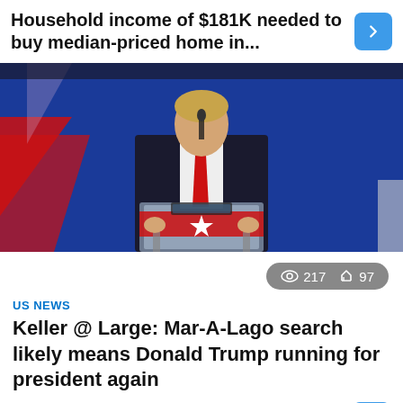Household income of $181K needed to buy median-priced home in...
[Figure (photo): A person in a dark suit with a red tie standing at a clear podium with a red banner, in front of a blue background with red diagonal stripes.]
217  97
US NEWS
Keller @ Large: Mar-A-Lago search likely means Donald Trump running for president again
by postolink.com